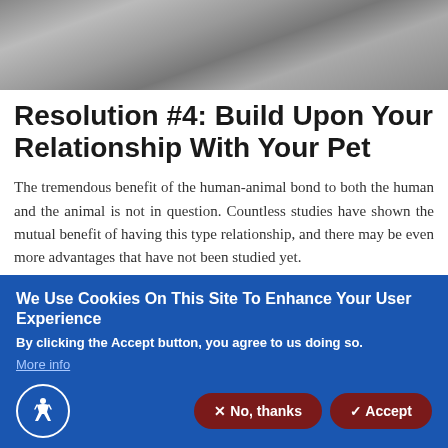[Figure (photo): Black and white close-up photograph of an animal (pet), top portion of page]
Resolution #4: Build Upon Your Relationship With Your Pet
The tremendous benefit of the human-animal bond to both the human and the animal is not in question. Countless studies have shown the mutual benefit of having this type relationship, and there may be even more advantages that have not been studied yet.
We Use Cookies On This Site To Enhance Your User Experience
By clicking the Accept button, you agree to us doing so.
More info